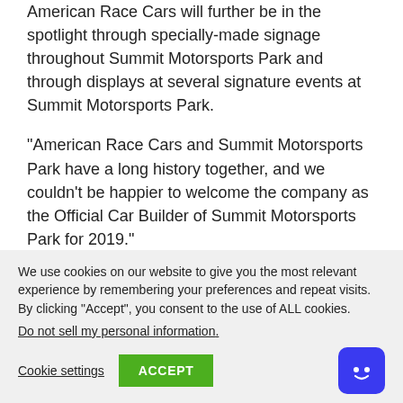American Race Cars will further be in the spotlight through specially-made signage throughout Summit Motorsports Park and through displays at several signature events at Summit Motorsports Park.
“American Race Cars and Summit Motorsports Park have a long history together, and we couldn’t be happier to welcome the company as the Official Car Builder of Summit Motorsports Park for 2019.”
We use cookies on our website to give you the most relevant experience by remembering your preferences and repeat visits. By clicking “Accept”, you consent to the use of ALL cookies.
Do not sell my personal information.
Cookie settings
ACCEPT